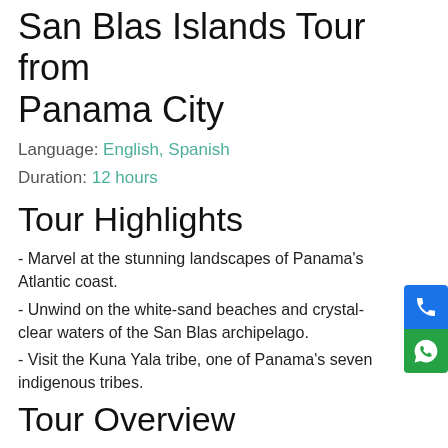San Blas Islands Tour from Panama City
Language: English, Spanish
Duration: 12 hours
Tour Highlights
- Marvel at the stunning landscapes of Panama's Atlantic coast.
- Unwind on the white-sand beaches and crystal-clear waters of the San Blas archipelago.
- Visit the Kuna Yala tribe, one of Panama's seven indigenous tribes.
Tour Overview
The San Blas Archipelago, located east of the Panama Canal and on Panama's north coast, is made up of 365